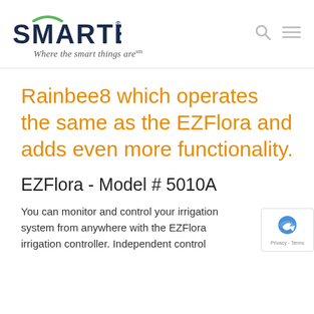[Figure (logo): SMARTENIT logo with arc above S, tagline 'Where the smart things are℠', search and menu icons on the right]
Rainbee8 which operates the same as the EZFlora and adds even more functionality.
EZFlora - Model # 5010A
You can monitor and control your irrigation system from anywhere with the EZFlora irrigation controller.  Independent control